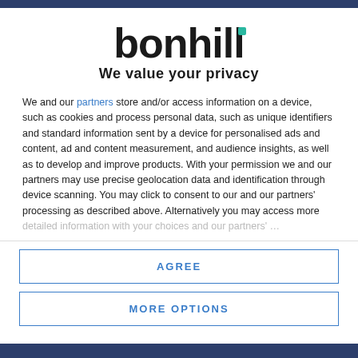[Figure (logo): Bonhill logo with teal accent square above the 'i' and tagline 'We value your privacy']
We and our partners store and/or access information on a device, such as cookies and process personal data, such as unique identifiers and standard information sent by a device for personalised ads and content, ad and content measurement, and audience insights, as well as to develop and improve products. With your permission we and our partners may use precise geolocation data and identification through device scanning. You may click to consent to our and our partners' processing as described above. Alternatively you may access more detailed information...
AGREE
MORE OPTIONS